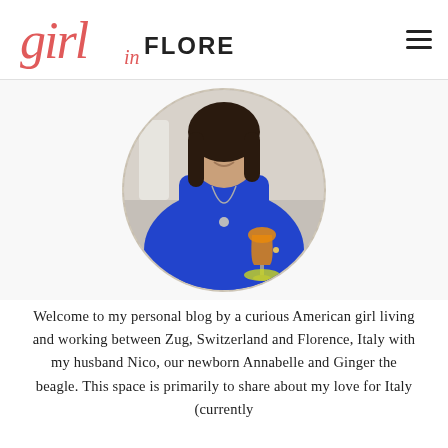Girl in Florence
[Figure (photo): Circular cropped photo of a smiling woman with dark hair, wearing a bright blue dress and a long necklace with an elephant pendant, holding a wine glass with an orange drink (likely Aperol Spritz) at an outdoor cafe setting]
Welcome to my personal blog by a curious American girl living and working between Zug, Switzerland and Florence, Italy with my husband Nico, our newborn Annabelle and Ginger the beagle. This space is primarily to share about my love for Italy (currently